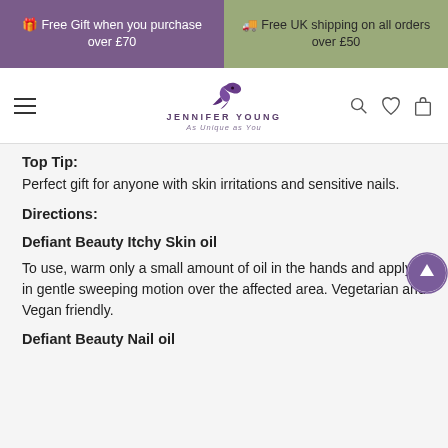🎁 Free Gift when you purchase over £70
🚚 Free UK shipping on all orders over £50
[Figure (logo): Jennifer Young logo with hummingbird, tagline 'As Unique as You']
Top Tip:
Perfect gift for anyone with skin irritations and sensitive nails.
Directions:
Defiant Beauty Itchy Skin oil
To use, warm only a small amount of oil in the hands and apply in gentle sweeping motion over the affected area. Vegetarian and Vegan friendly.
Defiant Beauty Nail oil